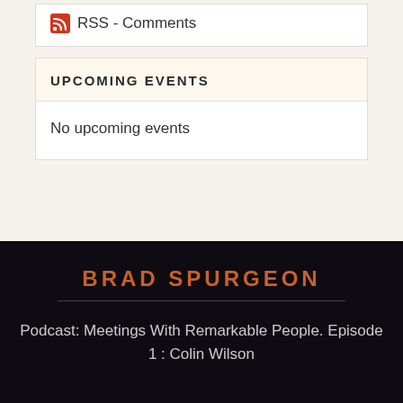RSS - Comments
UPCOMING EVENTS
No upcoming events
BRAD SPURGEON
Podcast: Meetings With Remarkable People. Episode 1 : Colin Wilson